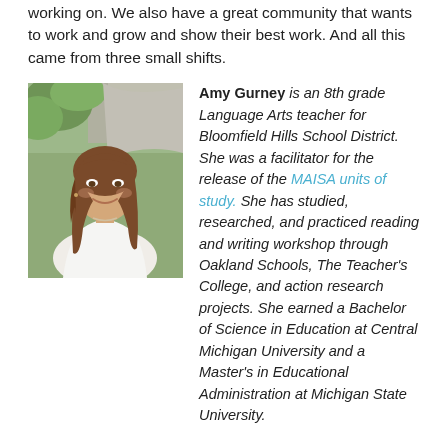working on. We also have a great community that wants to work and grow and show their best work. And all this came from three small shifts.
[Figure (photo): Portrait photo of Amy Gurney, a woman with long brown hair wearing a white top, smiling, with outdoor background.]
Amy Gurney is an 8th grade Language Arts teacher for Bloomfield Hills School District. She was a facilitator for the release of the MAISA units of study. She has studied, researched, and practiced reading and writing workshop through Oakland Schools, The Teacher's College, and action research projects. She earned a Bachelor of Science in Education at Central Michigan University and a Master's in Educational Administration at Michigan State University.